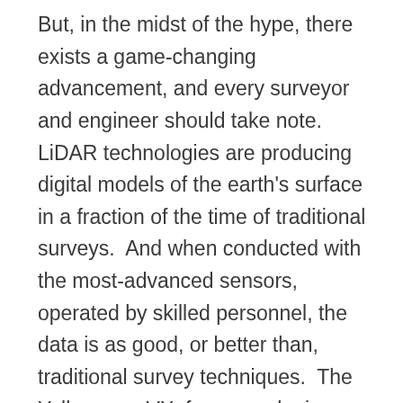But, in the midst of the hype, there exists a game-changing advancement, and every surveyor and engineer should take note.  LiDAR technologies are producing digital models of the earth's surface in a fraction of the time of traditional surveys.  And when conducted with the most-advanced sensors, operated by skilled personnel, the data is as good, or better than, traditional survey techniques.  The Yellowscan VX, for example, is capable of producing dense datasets with a spatial accuracy of one-tenth of a foot with a 95 percent confidence interval.  On many occasions, the data has received a stamp from a licensed